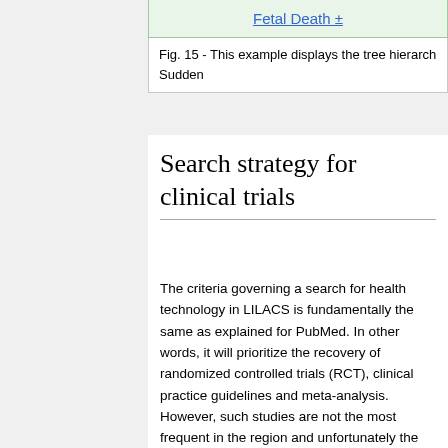[Figure (screenshot): Fetal Death + tree hierarchy node shown in a green-bordered box]
Fig. 15 - This example displays the tree hierarch... Sudden
Search strategy for clinical trials
The criteria governing a search for health technology in LILACS is fundamentally the same as explained for PubMed. In other words, it will prioritize the recovery of randomized controlled trials (RCT), clinical practice guidelines and meta-analysis. However, such studies are not the most frequent in the region and unfortunately the search form does not provide an easy way to identify the records for these categories. There are two possible solutions; one is to review the results of a search manually